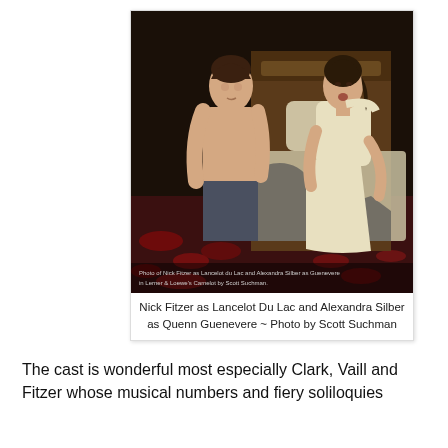[Figure (photo): Theatrical production photo of Nick Fitzer as Lancelot Du Lac (shirtless man on left) and Alexandra Silber as Queen Guenevere (woman in white dress on right) sitting on a bed on stage, from Lerner & Loewe's Camelot, photo by Scott Suchman.]
Nick Fitzer as Lancelot Du Lac and Alexandra Silber as Quenn Guenevere ~ Photo by Scott Suchman
The cast is wonderful most especially Clark, Vaill and Fitzer whose musical numbers and fiery soliloquies